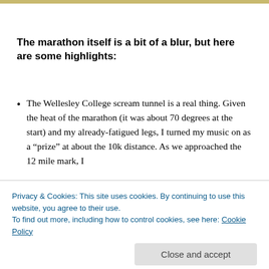The marathon itself is a bit of a blur, but here are some highlights:
The Wellesley College scream tunnel is a real thing. Given the heat of the marathon (it was about 70 degrees at the start) and my already-fatigued legs, I turned my music on as a “prize” at about the 10k distance. As we approached the 12 mile mark, I
Privacy & Cookies: This site uses cookies. By continuing to use this website, you agree to their use.
To find out more, including how to control cookies, see here: Cookie Policy